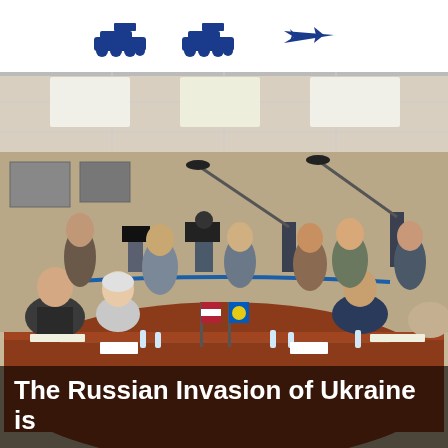Military vehicle icons header decoration
[Figure (photo): A diplomatic meeting at a large conference table with flags of the United States and another nation (likely NATO/Ukraine). Multiple people are seated on both sides of the table. Media personnel with cameras, microphones, and boom mics are crowded behind the seated officials. The setting appears to be an official government meeting room.]
The Russian Invasion of Ukraine is